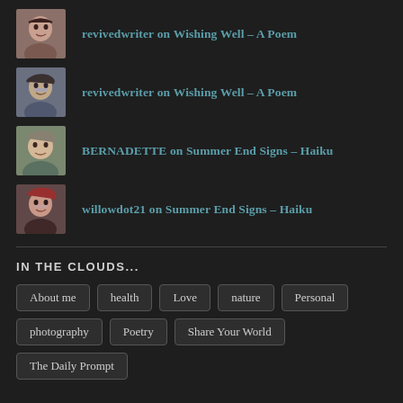revivedwriter on Wishing Well – A Poem
revivedwriter on Wishing Well – A Poem
BERNADETTE on Summer End Signs – Haiku
willowdot21 on Summer End Signs – Haiku
IN THE CLOUDS...
About me
health
Love
nature
Personal
photography
Poetry
Share Your World
The Daily Prompt